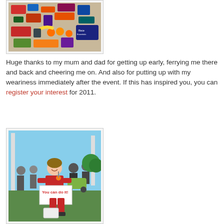[Figure (photo): Overhead view of race supplies and snacks spread on a floor, including packaged foods, oranges, bananas, and a dark bag labeled 'Race Essentials']
Huge thanks to my mum and dad for getting up early, ferrying me there and back and cheering me on. And also for putting up with my weariness immediately after the event. If this has inspired you, you can register your interest for 2011.
[Figure (photo): A smiling woman in red athletic wear holding a sign that reads 'You can do it!' at an outdoor running event, with a crowd and trees in the background]